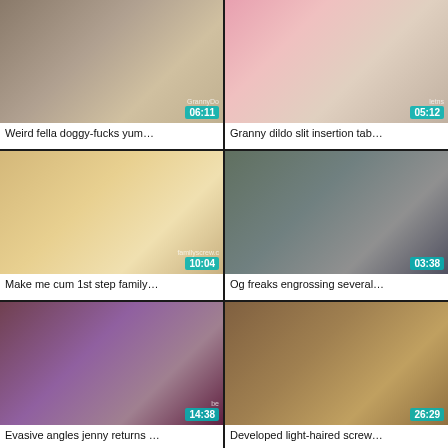[Figure (photo): Video thumbnail 1 with duration 06:11]
Weird fella doggy-fucks yum…
[Figure (photo): Video thumbnail 2 with duration 05:12]
Granny dildo slit insertion tab…
[Figure (photo): Video thumbnail 3 with duration 10:04]
Make me cum 1st step family…
[Figure (photo): Video thumbnail 4 with duration 03:38]
Og freaks engrossing several…
[Figure (photo): Video thumbnail 5 with duration 14:38]
Evasive angles jenny returns …
[Figure (photo): Video thumbnail 6 with duration 26:29]
Developed light-haired screw…